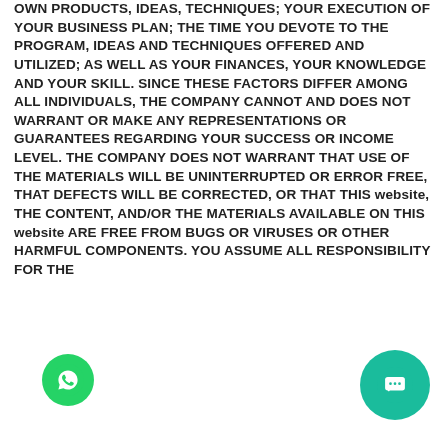OWN PRODUCTS, IDEAS, TECHNIQUES; YOUR EXECUTION OF YOUR BUSINESS PLAN; THE TIME YOU DEVOTE TO THE PROGRAM, IDEAS AND TECHNIQUES OFFERED AND UTILIZED; AS WELL AS YOUR FINANCES, YOUR KNOWLEDGE AND YOUR SKILL. SINCE THESE FACTORS DIFFER AMONG ALL INDIVIDUALS, THE COMPANY CANNOT AND DOES NOT WARRANT OR MAKE ANY REPRESENTATIONS OR GUARANTEES REGARDING YOUR SUCCESS OR INCOME LEVEL. THE COMPANY DOES NOT WARRANT THAT USE OF THE MATERIALS WILL BE UNINTERRUPTED OR ERROR FREE, THAT DEFECTS WILL BE CORRECTED, OR THAT THIS website, THE CONTENT, AND/OR THE MATERIALS AVAILABLE ON THIS website ARE FREE FROM BUGS OR VIRUSES OR OTHER HARMFUL COMPONENTS. YOU ASSUME ALL RESPONSIBILITY FOR THE